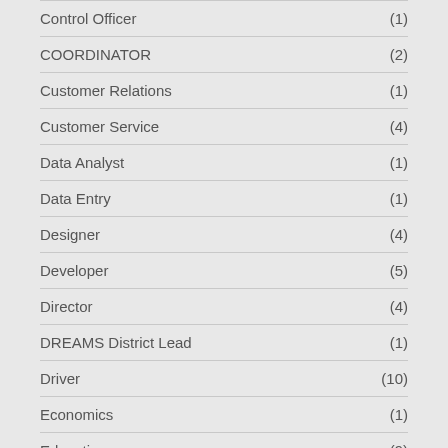Control Officer (1)
COORDINATOR (2)
Customer Relations (1)
Customer Service (4)
Data Analyst (1)
Data Entry (1)
Designer (4)
Developer (5)
Director (4)
DREAMS District Lead (1)
Driver (10)
Economics (1)
Education (9)
Electrician (1)